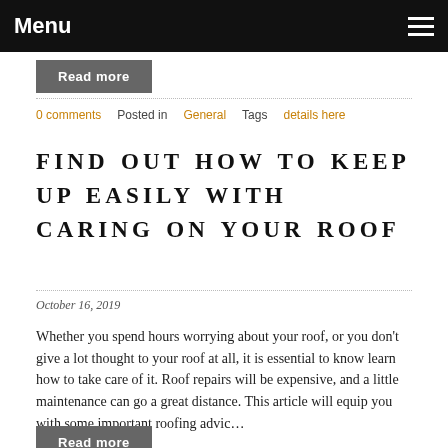Menu
Read more
0 comments   Posted in General   Tags details here
FIND OUT HOW TO KEEP UP EASILY WITH CARING ON YOUR ROOF
October 16, 2019
Whether you spend hours worrying about your roof, or you don't give a lot thought to your roof at all, it is essential to know learn how to take care of it. Roof repairs will be expensive, and a little maintenance can go a great distance. This article will equip you with some important roofing advic…
Read more